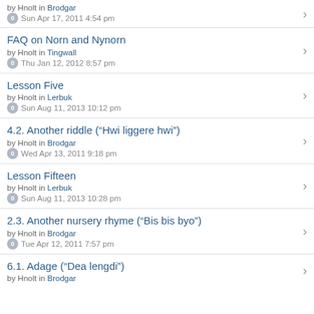by Hnolt in Brodgar
Sun Apr 17, 2011 4:54 pm
FAQ on Norn and Nynorn
by Hnolt in Tingwall
Thu Jan 12, 2012 8:57 pm
Lesson Five
by Hnolt in Lerbuk
Sun Aug 11, 2013 10:12 pm
4.2. Another riddle ("Hwi liggere hwi")
by Hnolt in Brodgar
Wed Apr 13, 2011 9:18 pm
Lesson Fifteen
by Hnolt in Lerbuk
Sun Aug 11, 2013 10:28 pm
2.3. Another nursery rhyme ("Bis bis byo")
by Hnolt in Brodgar
Tue Apr 12, 2011 7:57 pm
6.1. Adage ("Dea lengdi")
by Hnolt in Brodgar